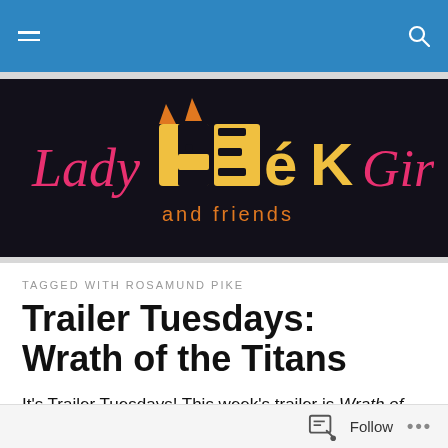Navigation bar with hamburger menu and search icon
[Figure (logo): Lady Geek Girl and friends logo — dark background with stylized yellow/gold block letters for GEEK, pink cursive for Lady and Girl, orange text for 'and friends', cat ears on the G]
TAGGED WITH ROSAMUND PIKE
Trailer Tuesdays: Wrath of the Titans
It's Trailer Tuesdays! This week's trailer is Wrath of the
Follow ...